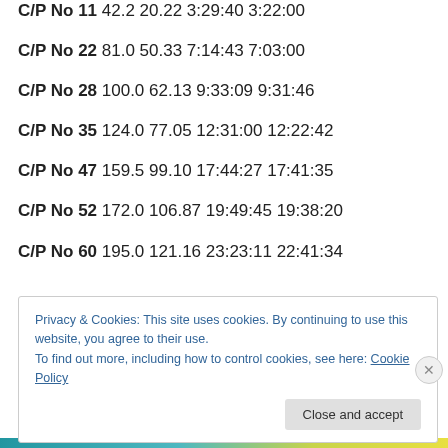C/P No 11 42.2 20.22 3:29:40 3:22:00
C/P No 22 81.0 50.33 7:14:43 7:03:00
C/P No 28 100.0 62.13 9:33:09 9:31:46
C/P No 35 124.0 77.05 12:31:00 12:22:42
C/P No 47 159.5 99.10 17:44:27 17:41:35
C/P No 52 172.0 106.87 19:49:45 19:38:20
C/P No 60 195.0 121.16 23:23:11 22:41:34
Privacy & Cookies: This site uses cookies. By continuing to use this website, you agree to their use. To find out more, including how to control cookies, see here: Cookie Policy